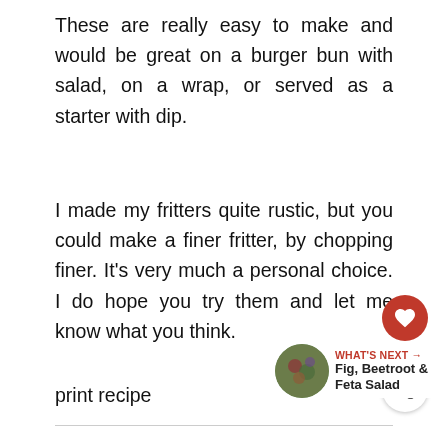These are really easy to make and would be great on a burger bun with salad, on a wrap, or served as a starter with dip.
I made my fritters quite rustic, but you could make a finer fritter, by chopping finer. It's very much a personal choice. I do hope you try them and let me know what you think.
print recipe